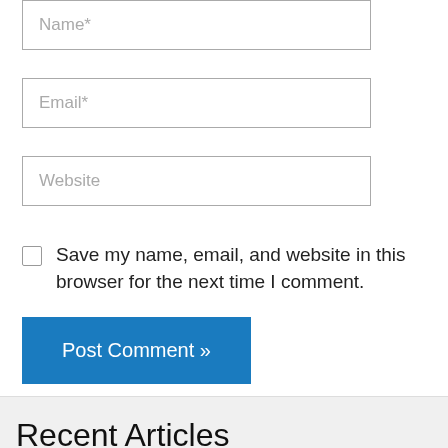Name*
Email*
Website
Save my name, email, and website in this browser for the next time I comment.
Post Comment »
Recent Articles